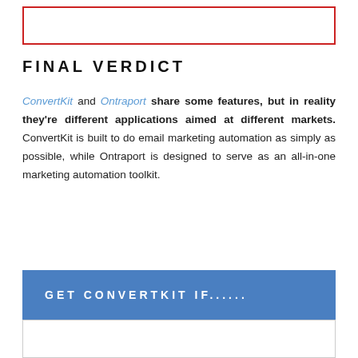[Figure (other): Red-bordered empty box at top of page]
FINAL VERDICT
ConvertKit and Ontraport share some features, but in reality they're different applications aimed at different markets. ConvertKit is built to do email marketing automation as simply as possible, while Ontraport is designed to serve as an all-in-one marketing automation toolkit.
GET CONVERTKIT IF......
[Figure (other): White box with light border below blue GET CONVERTKIT IF section]